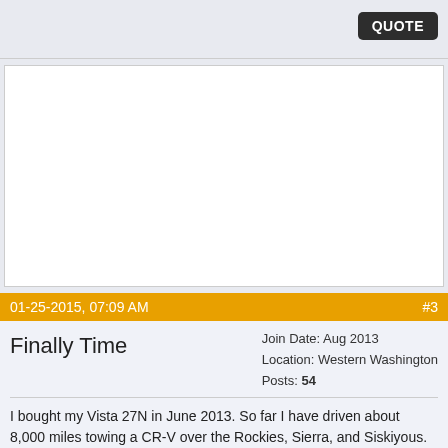QUOTE
[Figure (other): Advertisement area, blank white rectangle]
01-25-2015, 07:09 AM   #3
Finally Time
Join Date: Aug 2013
Location: Western Washington
Posts: 54
I bought my Vista 27N in June 2013. So far I have driven about 8,000 miles towing a CR-V over the Rockies, Sierra, and Siskiyous. Plenty of power. It handled well from the factory but had a somewhat harsh ride. I had the CHF done to tighten up the suspension and changed the factory Bilstein shocks to Monroes to soften the ride. It's great now.